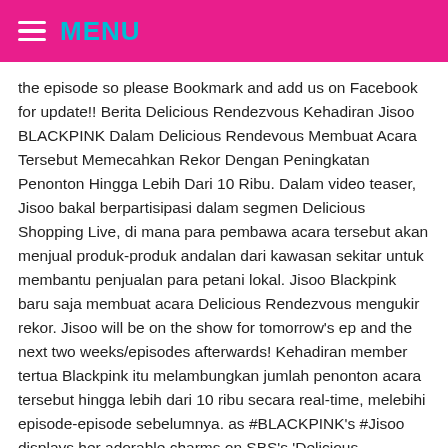MENU
the episode so please Bookmark and add us on Facebook for update!! Berita Delicious Rendezvous Kehadiran Jisoo BLACKPINK Dalam Delicious Rendevous Membuat Acara Tersebut Memecahkan Rekor Dengan Peningkatan Penonton Hingga Lebih Dari 10 Ribu. Dalam video teaser, Jisoo bakal berpartisipasi dalam segmen Delicious Shopping Live, di mana para pembawa acara tersebut akan menjual produk-produk andalan dari kawasan sekitar untuk membantu penjualan para petani lokal. Jisoo Blackpink baru saja membuat acara Delicious Rendezvous mengukir rekor. Jisoo will be on the show for tomorrow's ep and the next two weeks/episodes afterwards! Kehadiran member tertua Blackpink itu melambungkan jumlah penonton acara tersebut hingga lebih dari 10 ribu secara real-time, melebihi episode-episode sebelumnya. as #BLACKPINK's #Jisoo displays her adorable charms on SBS's 'Delicious Rendezvous' allkpop🇰🇷🇰🇷🇰🇷🇲🇾🇰🇷🇰🇷🇰🇷🇰🇷Facebook🇰🇷 … Video Producción en Puerto Vallarta. Siaran langsung belanja dari rumah yang menampilkan para pemeran menjual produk khas lokal tertentu